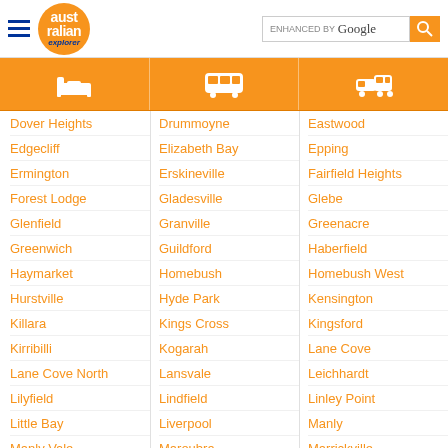Australian Explorer — ENHANCED BY Google search
[Figure (infographic): Orange navigation bar with three icons: bed/accommodation, bus/transport, car/transport]
Dover Heights
Drummoyne
Eastwood
Edgecliff
Elizabeth Bay
Epping
Ermington
Erskineville
Fairfield Heights
Forest Lodge
Gladesville
Glebe
Glenfield
Granville
Greenacre
Greenwich
Guildford
Haberfield
Haymarket
Homebush
Homebush West
Hurstville
Hyde Park
Kensington
Killara
Kings Cross
Kingsford
Kirribilli
Kogarah
Lane Cove
Lane Cove North
Lansvale
Leichhardt
Lilyfield
Lindfield
Linley Point
Little Bay
Liverpool
Manly
Manly Vale
Maroubra
Marrickville
Marsfield
Mascot
Matraville